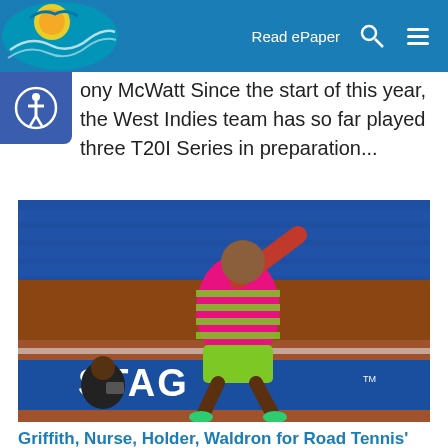Read ePaper
Tony McWatt Since the start of this year, the West Indies team has so far played three T20I Series in preparation...
[Figure (photo): A road tennis player in a pink and green striped outfit mid-swing on an indoor court with blue seating and a STAG banner in the background.]
Griffith, Nurse, Holder, Waldron for Road Tennis' epic finals